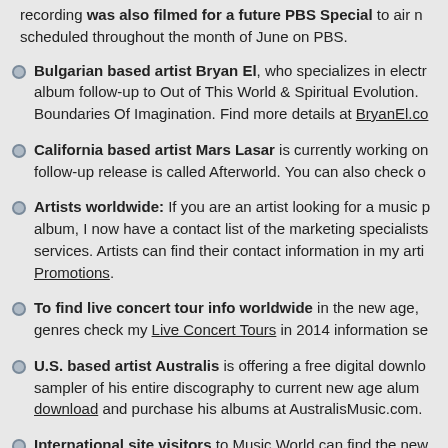recording was also filmed for a future PBS Special to air scheduled throughout the month of June on PBS.
Bulgarian based artist Bryan El, who specializes in electr… album follow-up to Out of This World & Spiritual Evolution. Boundaries Of Imagination. Find more details at BryanEl.co
California based artist Mars Lasar is currently working on… follow-up release is called Afterworld. You can also check o…
Artists worldwide: If you are an artist looking for a music p… album, I now have a contact list of the marketing specialists… services. Artists can find their contact information in my arti… Promotions.
To find live concert tour info worldwide in the new age, genres check my Live Concert Tours in 2014 information se…
U.S. based artist Australis is offering a free digital downlo… sampler of his entire discography to current new age albu… download and purchase his albums at AustralisMusic.com.
International site visitors to Music World can find the new… electronic, and instrumental music genres, in a news publi… 2014.